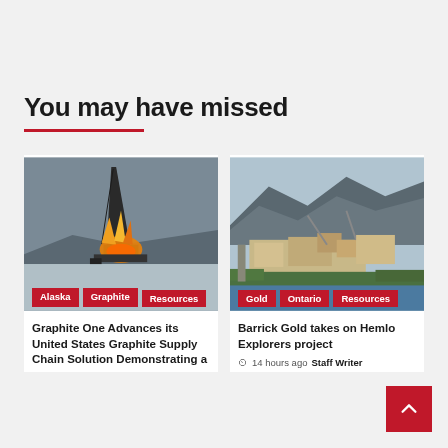You may have missed
[Figure (photo): Drilling rig with fire/sparks at night in snowy Alaskan landscape]
[Figure (photo): Aerial view of Hemlo gold mine in Ontario with mountains and river]
Graphite One Advances its United States Graphite Supply Chain Solution Demonstrating a
Barrick Gold takes on Hemlo Explorers project
14 hours ago  Staff Writer